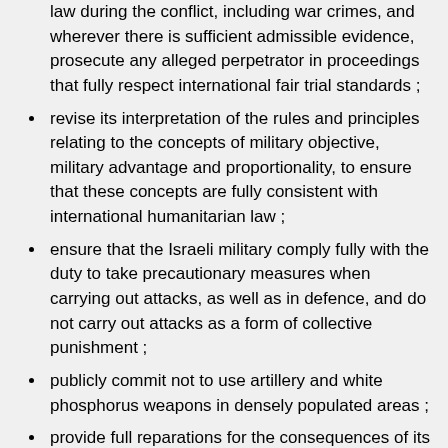law during the conflict, including war crimes, and wherever there is sufficient admissible evidence, prosecute any alleged perpetrator in proceedings that fully respect international fair trial standards ;
revise its interpretation of the rules and principles relating to the concepts of military objective, military advantage and proportionality, to ensure that these concepts are fully consistent with international humanitarian law ;
ensure that the Israeli military comply fully with the duty to take precautionary measures when carrying out attacks, as well as in defence, and do not carry out attacks as a form of collective punishment ;
publicly commit not to use artillery and white phosphorus weapons in densely populated areas ;
provide full reparations for the consequences of its unlawful acts and omissions ;
immediately end the blockade of the Gaza Strip, which is collectively punishing the entire population of Gaza, in breach of Israel's obligations under international